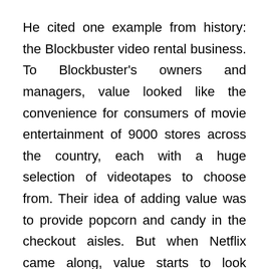He cited one example from history: the Blockbuster video rental business. To Blockbuster's owners and managers, value looked like the convenience for consumers of movie entertainment of 9000 stores across the country, each with a huge selection of videotapes to choose from. Their idea of adding value was to provide popcorn and candy in the checkout aisles. But when Netflix came along, value starts to look different. It's the convenience of streaming